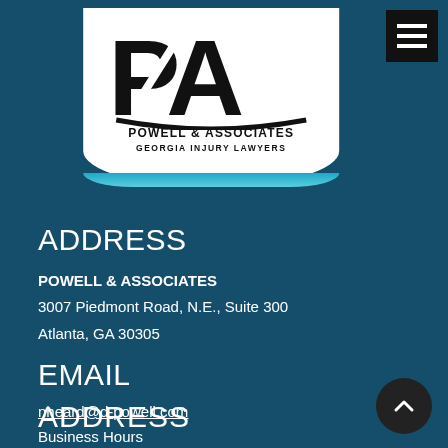[Figure (logo): Powell & Associates Georgia Injury Lawyers logo — large black PA letters with swoosh, firm name and tagline below, white background with rounded bottom]
ADDRESS
POWELL & ASSOCIATES
3007 Piedmont Road, N.E., Suite 300
Atlanta, GA 30305
EMAIL
nheard@d-powell.com
Business Hours